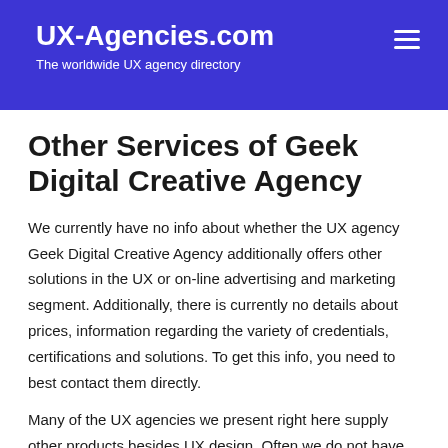UX-Agencies.com
The worldwide UX agency directory
Other Services of Geek Digital Creative Agency
We currently have no info about whether the UX agency Geek Digital Creative Agency additionally offers other solutions in the UX or on-line advertising and marketing segment. Additionally, there is currently no details about prices, information regarding the variety of credentials, certifications and solutions. To get this info, you need to best contact them directly.
Many of the UX agencies we present right here supply other products besides UX design. Often we do not have more thorough